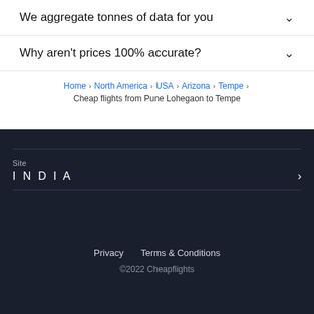We aggregate tonnes of data for you
Why aren't prices 100% accurate?
Home > North America > USA > Arizona > Tempe
Cheap flights from Pune Lohegaon to Tempe
Site
INDIA
Privacy   Terms & Conditions
©2022 Cheapflights